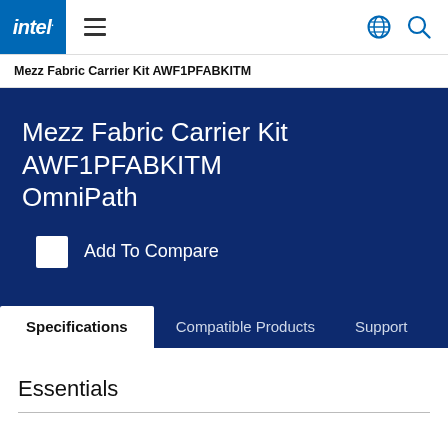Intel navigation bar with logo, hamburger menu, globe and search icons
Mezz Fabric Carrier Kit AWF1PFABKITM
Mezz Fabric Carrier Kit AWF1PFABKITM OmniPath
Add To Compare
Specifications
Compatible Products
Support
Essentials